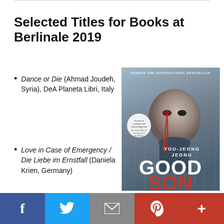Selected Titles for Books at Berlinale 2019
Dance or Die (Ahmad Joudeh, Syria), DeA Planeta Libri, Italy
Love in Case of Emergency / Die Liebe im Ernstfall (Daniela Krien, Germany)
[Figure (photo): Book cover of 'Good Son' by You-Jeong Jeong, labeled 'Number One International Bestseller', showing a close-up of a young man's face with blood dripping from his eye.]
f  (Twitter bird icon)  (envelope icon)  P  +